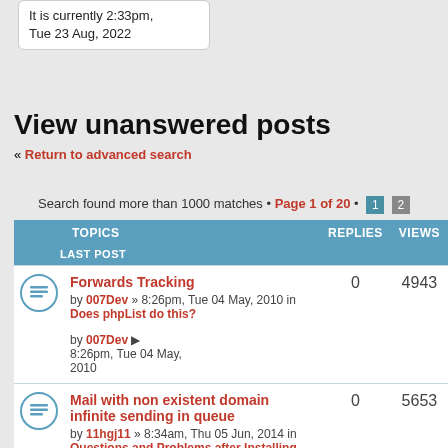It is currently 2:33pm, Tue 23 Aug, 2022
View unanswered posts
« Return to advanced search
Search found more than 1000 matches • Page 1 of 20 • 1 2
| TOPICS | REPLIES | VIEWS | LAST POST |
| --- | --- | --- | --- |
| Forwards Tracking by 007Dev » 8:26pm, Tue 04 May, 2010 in Does phpList do this? | 0 | 4943 | by 007Dev 8:26pm, Tue 04 May, 2010 |
| Mail with non existent domain infinite sending in queue by 11hgj11 » 8:34am, Thu 05 Jun, 2014 in Questions and Problems after Installing | 0 | 5653 | by 11hgj11 8:34am, Thu 05 Jun, 2014 |
| Former aweber user by 123sale » 9:15am, Thu 07 Apr, 2011 in Other | 0 | 7391 | by 123sale |